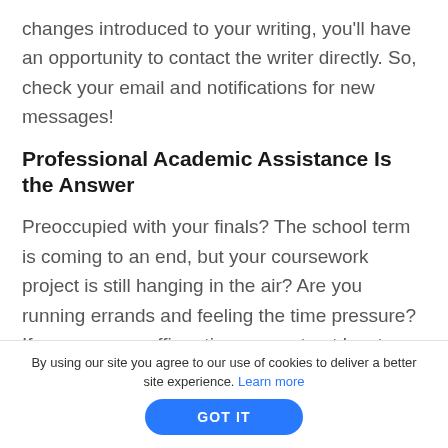changes introduced to your writing, you'll have an opportunity to contact the writer directly. So, check your email and notifications for new messages!
Professional Academic Assistance Is the Answer
Preoccupied with your finals? The school term is coming to an end, but your coursework project is still hanging in the air? Are you running errands and feeling the time pressure? If you gave an affirmativeanswer to at least one of those questions, then you definitely have some serious academic
By using our site you agree to our use of cookies to deliver a better site experience. Learn more